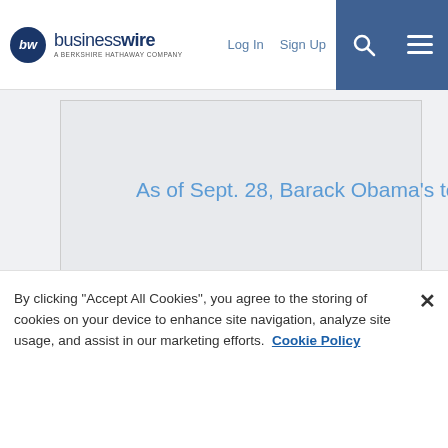businesswire — A Berkshire Hathaway Company | Log In | Sign Up
As of Sept. 28, Barack Obama's total TEMPO stood at 1,198, leading Mitt Romney's TEMPO of 824.
By clicking "Accept All Cookies", you agree to the storing of cookies on your device to enhance site navigation, analyze site usage, and assist in our marketing efforts. Cookie Policy